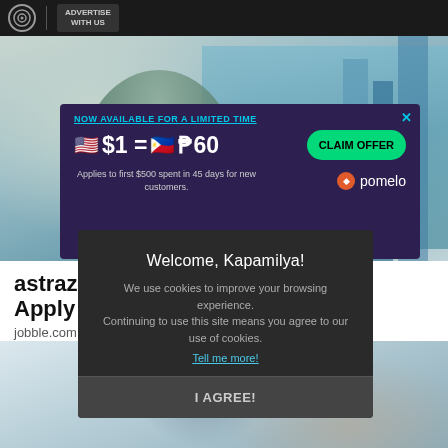ADVERTISE WITH US
[Figure (photo): Person in lab coat and hijab working in a laboratory setting]
[Figure (infographic): Pomelo ad banner: NOW AVAILABLE FOR A LIMITED TIME. $1 = ₱60. CLAIM OFFER. Applies to first $500 spent in 45 days for new customers. pomelo logo.]
astrazeneca ... shburn Apply No...
jobble.com
[Figure (photo): Smiling woman with glasses in a professional setting]
Welcome, Kapamilya!
We use cookies to improve your browsing experience. Continuing to use this site means you agree to our use of cookies.
Tell me more!
I AGREE!